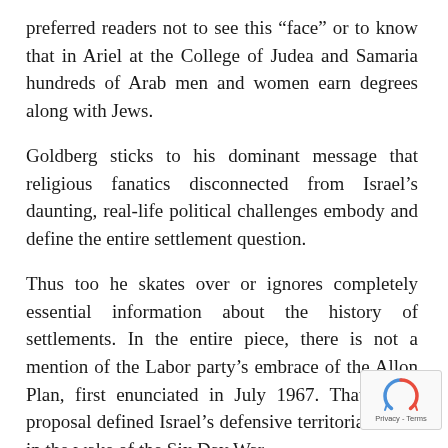preferred readers not to see this “face” or to know that in Ariel at the College of Judea and Samaria hundreds of Arab men and women earn degrees along with Jews.
Goldberg sticks to his dominant message that religious fanatics disconnected from Israel’s daunting, real-life political challenges embody and define the entire settlement question.
Thus too he skates over or ignores completely essential information about the history of settlements. In the entire piece, there is not a mention of the Labor party’s embrace of the Allon Plan, first enunciated in July 1967. That peace proposal defined Israel’s def… territorial needs in the wake of the Six Day War,